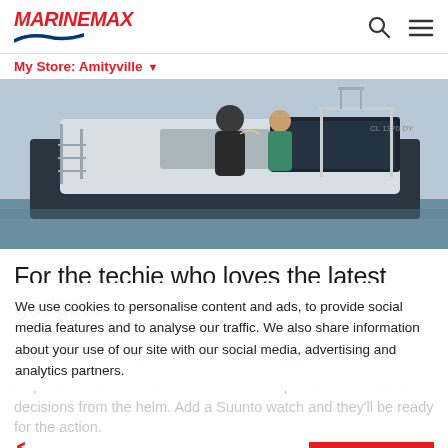MarineMax | My Store: Amityville
[Figure (photo): People on a boat at a marina, close-up view of persons sitting on a white motorboat with fishing/navigation equipment visible]
For the techie who loves the latest gadgets
If their radar, fish finder, or GPS is out of date,
MarineMax has the latest innovations and the service team to help. The Simrad instruments allow the captain to make smart decisions from the helm. Add a Suunto watch and they'll be ready for the action.
We use cookies to personalise content and ads, to provide social media features and to analyse our traffic. We also share information about your use of our site with our social media, advertising and analytics partners.